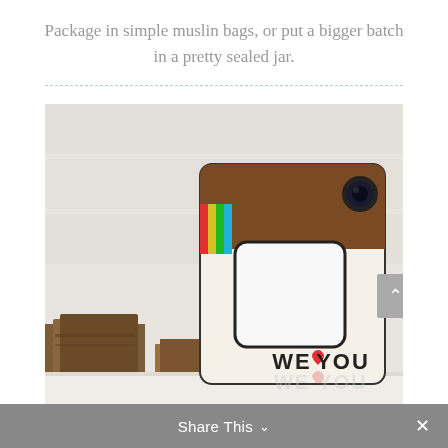Package in simple muslin bags, or put a bigger batch in a pretty sealed jar.
[Figure (photo): Photo of an Instagram-style ceramic or plastic picture frame decorated with colorful stripes (red, yellow-green, cyan) and brown wood-tone top section with a camera lens. The frame reads 'WE [heart] YOU' at the bottom and is displayed next to old brown books on a white surface.]
Share This ∨  ×